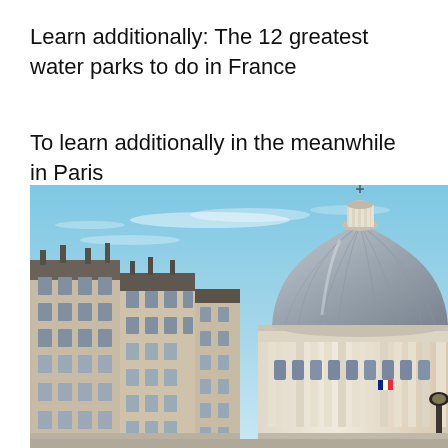Learn additionally: The 12 greatest water parks to do in France
To learn additionally in the meanwhile in Paris
[Figure (photo): Street-level view of Paris with classic Haussmann-style apartment buildings on the left and the Pantheon dome on the right against a bright blue sky.]